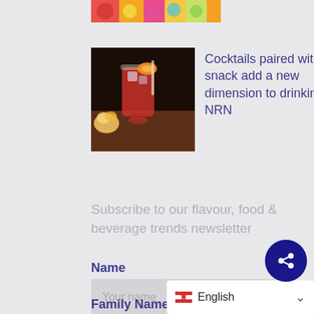[Figure (photo): Partial top strip showing colorful food/candy images]
[Figure (photo): Thumbnail image of a red cocktail drink with ice and orange garnish, with popcorn on the side]
Cocktails paired with a snack add a new dimension to drinking | NRN
Subscribe to our flavour, food & beverage trends newsletter
Name
Your name
Family Name
Your family name
English